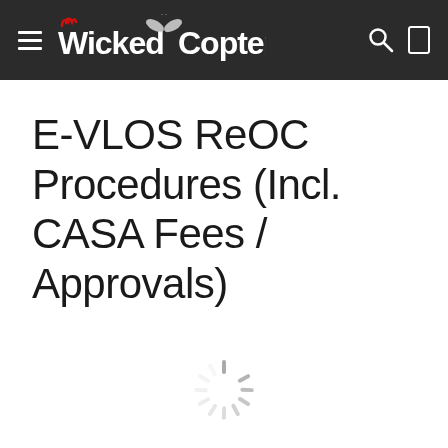Wicked Copters
E-VLOS ReOC Procedures (Incl. CASA Fees / Approvals)
[Figure (other): Loading spinner animation — circular dashed spinner graphic in gray]